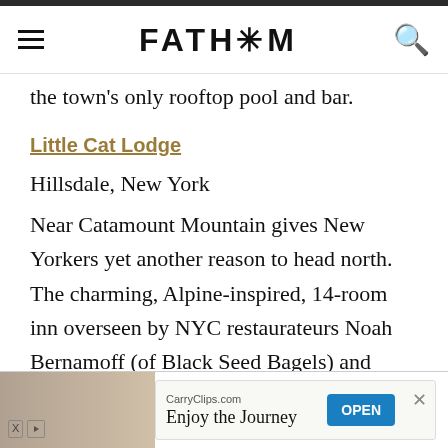FATH*M
the town's only rooftop pool and bar.
Little Cat Lodge
Hillsdale, New York
Near Catamount Mountain gives New Yorkers yet another reason to head north. The charming, Alpine-inspired, 14-room inn overseen by NYC restaurateurs Noah Bernamoff (of Black Seed Bagels) and Matt Kliegman (The Smile) is one for all seasons.
[Figure (screenshot): Advertisement banner: CarryClips.com - Enjoy the Journey, with OPEN button]